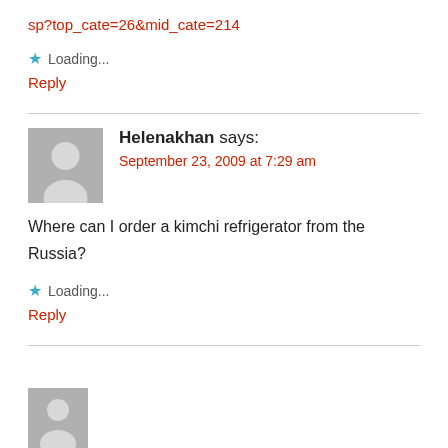sp?top_cate=26&mid_cate=214
Loading...
Reply
Helenakhan says:
September 23, 2009 at 7:29 am
Where can I order a kimchi refrigerator from the Russia?
Loading...
Reply